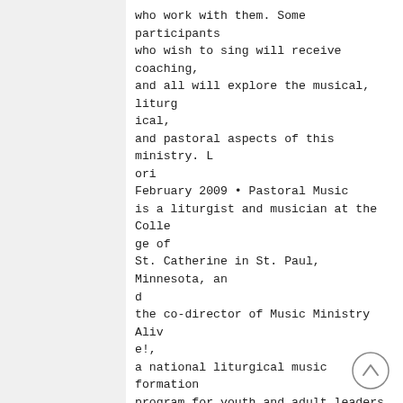who work with them. Some participants who wish to sing will receive coaching, and all will explore the musical, liturgical, and pastoral aspects of this ministry. Lori February 2009 • Pastoral Music is a liturgist and musician at the College of St. Catherine in St. Paul, Minnesota, and the co-director of Music Ministry Alive!, a national liturgical music formation program for youth and adult leaders. Advanced Guitar Clinic. Bobby Fisher and Steve Petrunak will lead a group class for guitarists (Monday, 9:00 am–12:00 noon) with experience that will demonstrate practical skills to improve guitar playing. Some participants will receive personal coaching. Bobby is currently director of music ministries at St. Agne